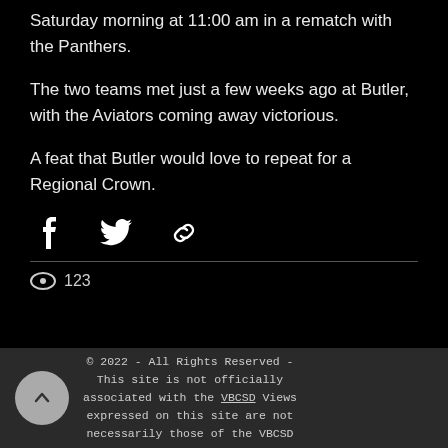Saturday morning at 11:00 am in a rematch with the Panthers.
The two teams met just a few weeks ago at Butler, with the Aviators coming away victorious.
A feat that Butler would love to repeat for a Regional Crown.
[Figure (other): Social sharing icons: Facebook, Twitter, and link/chain icon]
123 views
© 2022 - All Rights Reserved - This site is not officially associated with the VBCSD Views expressed on this site are not necessarily those of the VBCSD